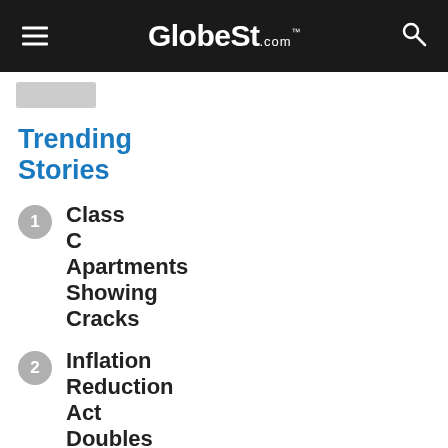GlobeSt.com
Trending Stories
1. Class C Apartments Showing Cracks
2. Inflation Reduction Act Doubles Tax Credits for Building